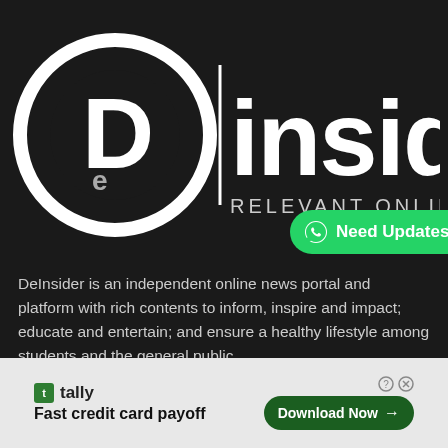[Figure (logo): DeInsider logo on dark background — circular 'De' emblem with vertical bar separator and 'insider' text, with 'RELEVANT ONLINE...' tagline below]
[Figure (other): Green WhatsApp button reading 'Need Updates?' with WhatsApp icon]
DeInsider is an independent online news portal and platform with rich contents to inform, inspire and impact; educate and entertain; and ensure a healthy lifestyle among students and the general public.
[Figure (other): Advertisement banner: Tally app — 'Fast credit card payoff' with 'Download Now' button]